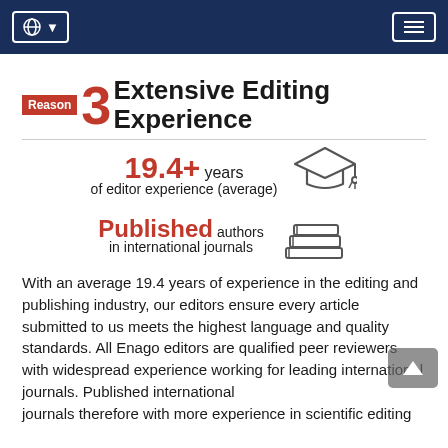Navigation bar with globe/language selector and hamburger menu
Reason 3 Extensive Editing Experience
[Figure (infographic): Infographic showing '19.4+ years of editor experience (average)' with graduation cap icon and 'Published authors in international journals' with stacked books icon]
With an average 19.4 years of experience in the editing and publishing industry, our editors ensure every article submitted to us meets the highest language and quality standards. All Enago editors are qualified peer reviewers with widespread experience working for leading international journals. Published international journals therefore with more experience in scientific editing...